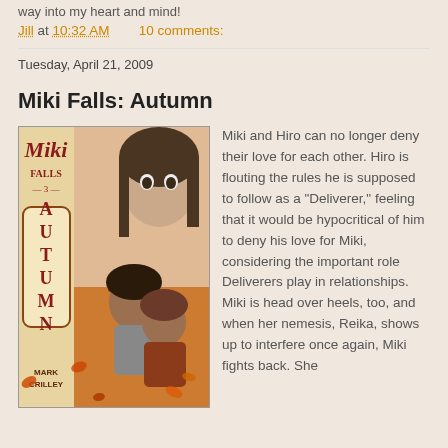way into my heart and mind!
Jill at 10:32 AM   10 comments:
Tuesday, April 21, 2009
Miki Falls: Autumn
[Figure (illustration): Book cover of Miki Falls: Autumn by Mark Crilley showing manga-style artwork with two characters about to kiss, a girl's face in the background, and 'Autumn' written vertically on the spine in red. Orange autumn leaves decorate the cover.]
Miki and Hiro can no longer deny their love for each other. Hiro is flouting the rules he is supposed to follow as a "Deliverer," feeling that it would be hypocritical of him to deny his love for Miki, considering the important role Deliverers play in relationships. Miki is head over heels, too, and when her nemesis, Reika, shows up to interfere once again, Miki fights back. She